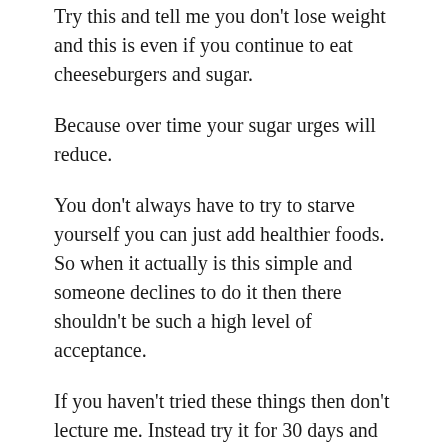Try this and tell me you don't lose weight and this is even if you continue to eat cheeseburgers and sugar.
Because over time your sugar urges will reduce.
You don't always have to try to starve yourself you can just add healthier foods. So when it actually is this simple and someone declines to do it then there shouldn't be such a high level of acceptance.
If you haven't tried these things then don't lecture me. Instead try it for 30 days and then tell me it doesn't work. Except that wont be possible